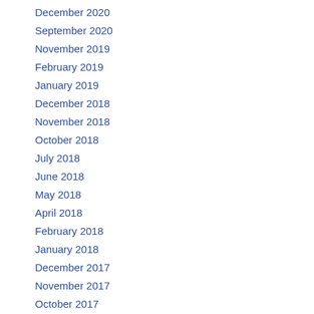December 2020
September 2020
November 2019
February 2019
January 2019
December 2018
November 2018
October 2018
July 2018
June 2018
May 2018
April 2018
February 2018
January 2018
December 2017
November 2017
October 2017